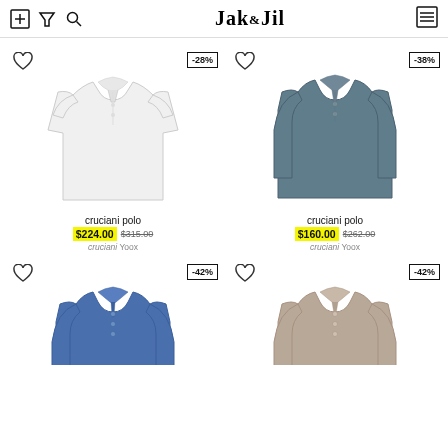Jak&Jil
[Figure (photo): White short-sleeve polo shirt, -28% discount badge, heart icon]
cruciani polo
$224.00 $315.00
cruciani Yoox
[Figure (photo): Dark blue-grey long-sleeve polo shirt, -38% discount badge, heart icon]
cruciani polo
$160.00 $262.00
cruciani Yoox
[Figure (photo): Blue long-sleeve polo shirt, -42% discount badge, heart icon]
[Figure (photo): Tan/beige long-sleeve polo shirt, -42% discount badge, heart icon]